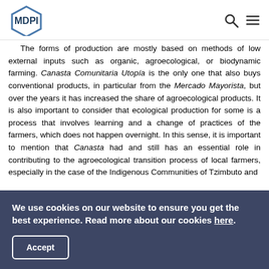MDPI
The forms of production are mostly based on methods of low external inputs such as organic, agroecological, or biodynamic farming. Canasta Comunitaria Utopía is the only one that also buys conventional products, in particular from the Mercado Mayorista, but over the years it has increased the share of agroecological products. It is also important to consider that ecological production for some is a process that involves learning and a change of practices of the farmers, which does not happen overnight. In this sense, it is important to mention that Canasta had and still has an essential role in contributing to the agroecological transition process of local farmers, especially in the case of the Indigenous Communities of Tzimbuto and
We use cookies on our website to ensure you get the best experience. Read more about our cookies here.
Accept